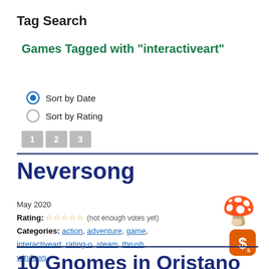Tag Search
Games Tagged with "interactiveart"
Sort by Date (selected)
Sort by Rating
1 2 3
Neversong
May 2020
Rating: ☆☆☆☆☆ (not enough votes yet)
Categories: action, adventure, game, interactiveart, rating-o, steam, tbrush, windows
10 Gnomes in Oristano